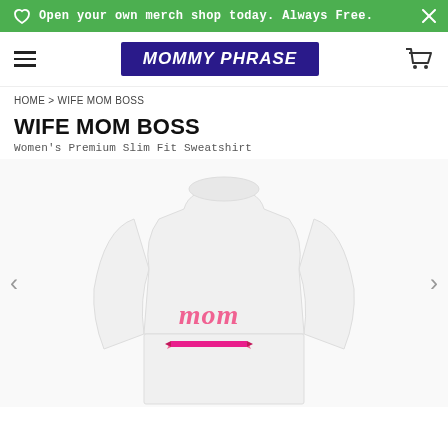Open your own merch shop today. Always Free.
[Figure (screenshot): Website navigation bar with hamburger menu, MOMMY PHRASE logo on purple background, and shopping cart icon]
HOME > WIFE MOM BOSS
WIFE MOM BOSS
Women's Premium Slim Fit Sweatshirt
[Figure (photo): White women's long-sleeve sweatshirt with pink cursive 'mom' text and pink ribbon banner graphic on the front, shown on a model torso, with left and right navigation arrows]